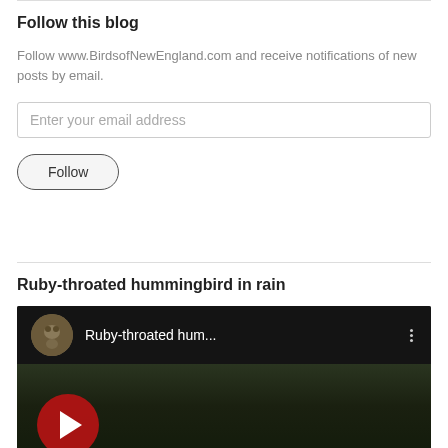Follow this blog
Follow www.BirdsofNewEngland.com and receive notifications of new posts by email.
[Figure (screenshot): Email input field with placeholder text 'Enter your email address' and a Follow button with rounded border]
Ruby-throated hummingbird in rain
[Figure (screenshot): YouTube video thumbnail showing Ruby-throated hum... with channel avatar, three-dot menu, and red play button over dark video frame]